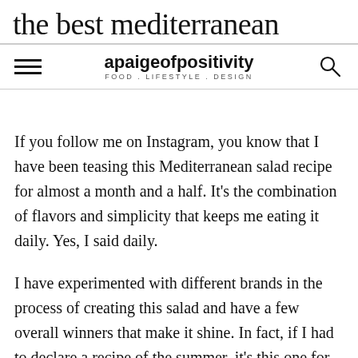the best mediterranean
apaigeofpositivity · FOOD . LIFESTYLE . DESIGN
If you follow me on Instagram, you know that I have been teasing this Mediterranean salad recipe for almost a month and a half. It's the combination of flavors and simplicity that keeps me eating it daily. Yes, I said daily.
I have experimented with different brands in the process of creating this salad and have a few overall winners that make it shine. In fact, if I had to declare a recipe of the summer, it's this one for me! There are so many good flavors that it's hard to make it bad!